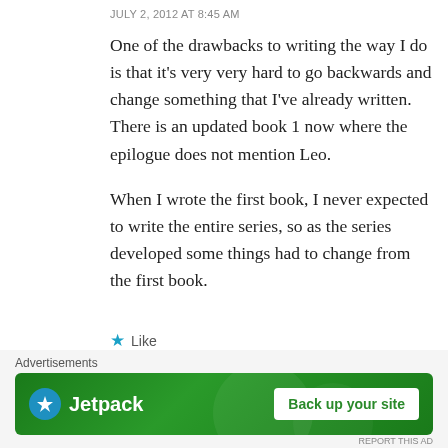JULY 2, 2012 AT 8:45 AM
One of the drawbacks to writing the way I do is that it's very very hard to go backwards and change something that I've already written. There is an updated book 1 now where the epilogue does not mention Leo.
When I wrote the first book, I never expected to write the entire series, so as the series developed some things had to change from the first book.
★ Like
↳ REPLY
[Figure (other): Jetpack advertisement banner with logo and 'Back up your site' call-to-action button on green background]